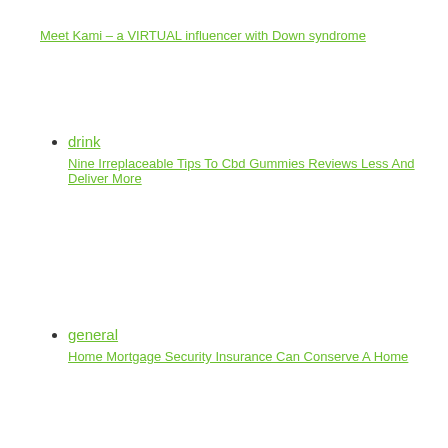Meet Kami – a VIRTUAL influencer with Down syndrome
drink
Nine Irreplaceable Tips To Cbd Gummies Reviews Less And Deliver More
general
Home Mortgage Security Insurance Can Conserve A Home
reference and education